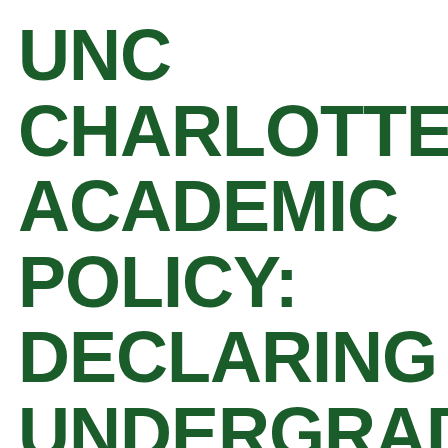UNC CHARLOTTE ACADEMIC POLICY: DECLARING UNDERGRADUATE MAJORS AND